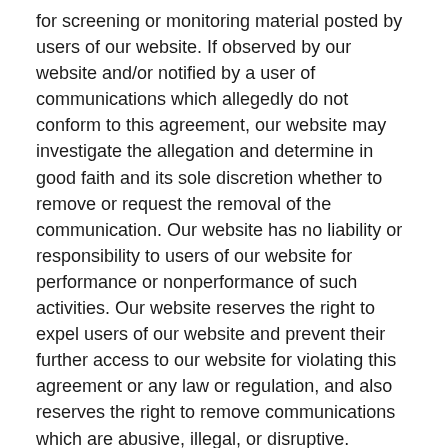for screening or monitoring material posted by users of our website. If observed by our website and/or notified by a user of communications which allegedly do not conform to this agreement, our website may investigate the allegation and determine in good faith and its sole discretion whether to remove or request the removal of the communication. Our website has no liability or responsibility to users of our website for performance or nonperformance of such activities. Our website reserves the right to expel users of our website and prevent their further access to our website for violating this agreement or any law or regulation, and also reserves the right to remove communications which are abusive, illegal, or disruptive.
Social Media Warning (Divulgence of Personal & Private Information)
Social media has provided a platform for internet users to disclose much personal information about themselves, in a